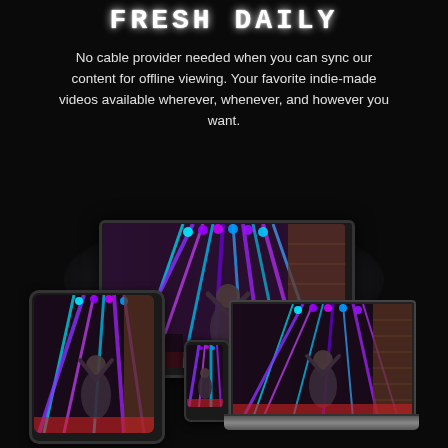FRESH DAILY
No cable provider needed when you can sync our content for offline viewing. Your favorite indie-made videos available wherever, whenever, and however you want.
[Figure (illustration): Multiple devices (TV monitor, laptop, tablet, phone) all displaying the same concert video with colorful laser lights and a performer on stage. Dark background with subtle glow effect behind the devices.]